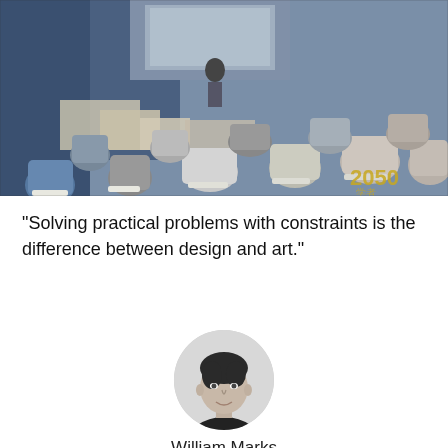[Figure (photo): Conference or seminar photo showing an audience seated on white stools/chairs from behind, facing a stage with a presenter and blue/white decor. A watermark '2050' is visible in the bottom-right corner.]
“Solving practical problems with constraints is the difference between design and art.”
[Figure (photo): Black and white portrait photo of William Marks, a young man with dark hair, shown from the shoulders up.]
William Marks
General Manager of MING Labs